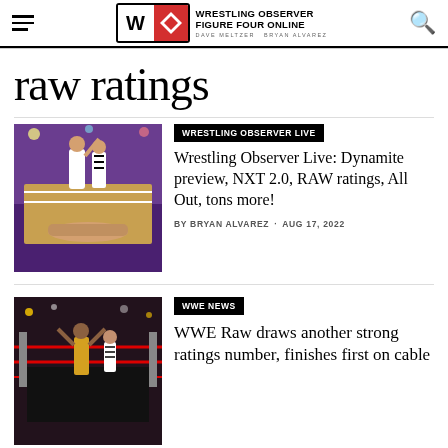Wrestling Observer Figure Four Online — Dave Meltzer · Bryan Alvarez
raw ratings
[Figure (photo): Wrestling match photo: referee raising a wrestler's arm in victory while another wrestler lies on the mat in a large arena]
WRESTLING OBSERVER LIVE
Wrestling Observer Live: Dynamite preview, NXT 2.0, RAW ratings, All Out, tons more!
BY BRYAN ALVAREZ · AUG 17, 2022
[Figure (photo): WWE Raw wrestling match photo: wrestler raising arms in the ring, red arena setting]
WWE NEWS
WWE Raw draws another strong ratings number, finishes first on cable